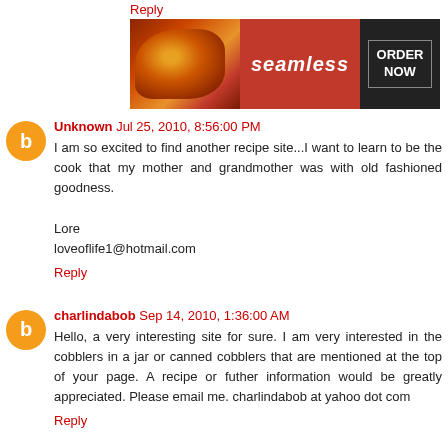Reply
[Figure (other): Seamless food delivery advertisement banner showing pizza image on left, red center with 'seamless' text, and dark right section with 'ORDER NOW' button]
Unknown Jul 25, 2010, 8:56:00 PM
I am so excited to find another recipe site...I want to learn to be the cook that my mother and grandmother was with old fashioned goodness.

Lore
loveoflife1@hotmail.com
Reply
charlindabob Sep 14, 2010, 1:36:00 AM
Hello, a very interesting site for sure. I am very interested in the cobblers in a jar or canned cobblers that are mentioned at the top of your page. A recipe or futher information would be greatly appreciated. Please email me. charlindabob at yahoo dot com
Reply